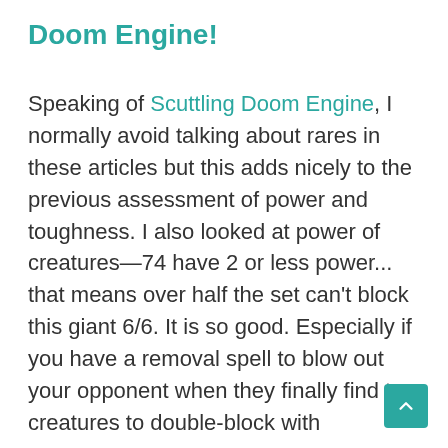Doom Engine!
Speaking of Scuttling Doom Engine, I normally avoid talking about rares in these articles but this adds nicely to the previous assessment of power and toughness. I also looked at power of creatures—74 have 2 or less power... that means over half the set can't block this giant 6/6. It is so good. Especially if you have a removal spell to blow out your opponent when they finally find two creatures to double-block with